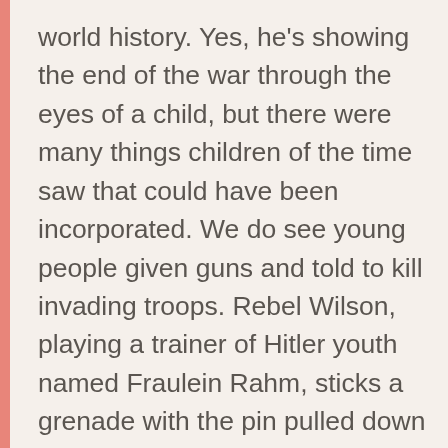world history. Yes, he's showing the end of the war through the eyes of a child, but there were many things children of the time saw that could have been incorporated. We do see young people given guns and told to kill invading troops. Rebel Wilson, playing a trainer of Hitler youth named Fraulein Rahm, sticks a grenade with the pin pulled down the belt of a young boy and tells him to go hug an American. These scenes are played for the sake of dark humor and we never see any children die as a result. The approach is more like Monty Python-lite. There's no dismemberment, no obvious dummy bodies blown up, as the death always